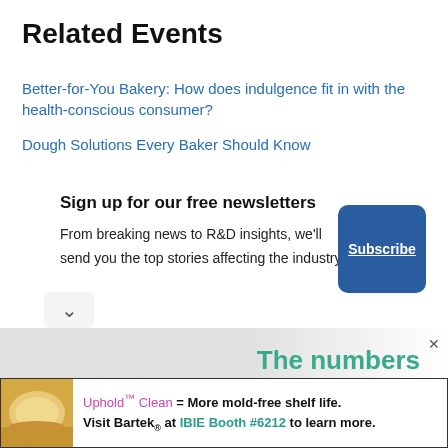Related Events
Better-for-You Bakery: How does indulgence fit in with the health-conscious consumer?
Dough Solutions Every Baker Should Know
Sign up for our free newsletters
From breaking news to R&D insights, we'll send you the top stories affecting the industry.
[Figure (other): Subscribe button — blue rounded square with white underlined text 'Subscribe']
[Figure (other): Partial advertisement banner showing machinery image and teal text 'The numbers' with close X button]
[Figure (other): Bottom advertisement banner with bread image: 'Uphold Clean = More mold-free shelf life. Visit Bartek at IBIE Booth #6212 to learn more.']